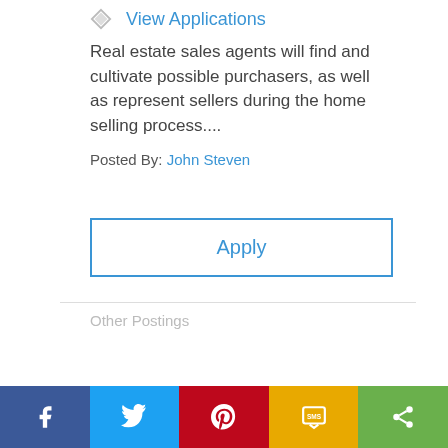View Applications
Real estate sales agents will find and cultivate possible purchasers, as well as represent sellers during the home selling process....
Posted By: John Steven
Apply
Other Postings
[Figure (infographic): Social sharing bar with Facebook, Twitter, Pinterest, SMS, and Share buttons]